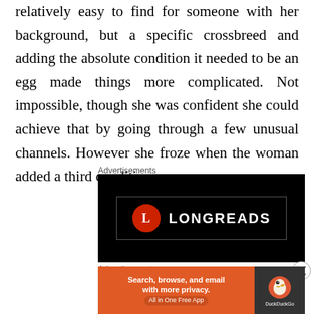relatively easy to find for someone with her background, but a specific crossbreed and adding the absolute condition it needed to be an egg made things more complicated. Not impossible, though she was confident she could achieve that by going through a few unusual channels. However she froze when the woman added a third condition.
Advertisements
[Figure (logo): Longreads advertisement banner with black background, showing a red circle with 'L' letter and LONGREADS text in white]
Advertisements
[Figure (screenshot): DuckDuckGo advertisement: orange left panel with text 'Search, browse, and email with more privacy. All in One Free App' and dark right panel with DuckDuckGo duck logo]